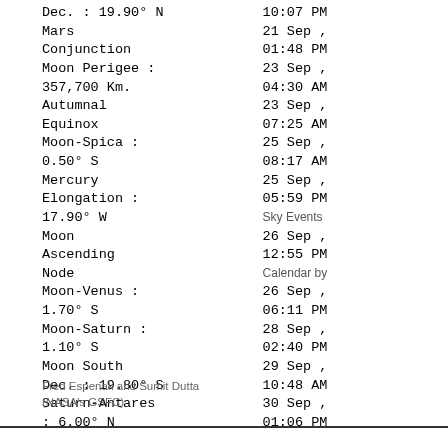| Event | Date/Time |
| --- | --- |
| Dec. : 19.90° N | 10:07 PM |
| Mars | 21 Sep , |
| Conjunction | 01:48 PM |
| Moon Perigee : | 23 Sep , |
| 357,700 Km. | 04:30 AM |
| Autumnal | 23 Sep , |
| Equinox | 07:25 AM |
| Moon-Spica : | 25 Sep , |
| 0.50° S | 08:17 AM |
| Mercury | 25 Sep , |
| Elongation : | 05:59 PM |
| 17.90° W | Sky Events |
| Moon | 26 Sep , |
| Ascending | 12:55 PM |
| Node | Calendar by |
| Moon-Venus : | 26 Sep , |
| 1.70° S | 06:11 PM |
| Moon-Saturn : | 28 Sep , |
| 1.10° S | 02:40 PM |
| Moon South | 29 Sep , |
| Dec. : 19.80° S | 10:48 AM |
| Saturn-Antares | 30 Sep , |
| : 6.00° N | 01:06 PM |
Fred Espenak and Sumit Dutta
(NASA's GSFC)